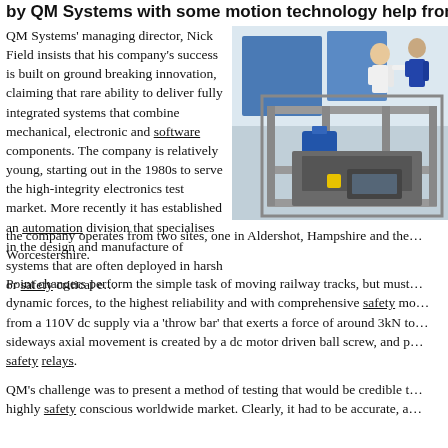by QM Systems with some motion technology help from Le…
QM Systems' managing director, Nick Field insists that his company's success is built on ground breaking innovation, claiming that rare ability to deliver fully integrated systems that combine mechanical, electronic and software components. The company is relatively young, starting out in the 1980s to serve the high-integrity electronics test market. More recently it has established an automation division that specialises in the design and manufacture of systems that are often deployed in harsh or safety critical e… the company operates from two sites, one in Aldershot, Hampshire and the… Worcestershire.
[Figure (photo): Photo of two engineers in a factory/lab setting working on a large industrial automated test machine with metal frame, blue motor, and mechanical components on a workbench.]
Point changers perform the simple task of moving railway tracks, but must… dynamic forces, to the highest reliability and with comprehensive safety mo… from a 110V dc supply via a 'throw bar' that exerts a force of around 3kN to… sideways axial movement is created by a dc motor driven ball screw, and p… safety relays.
QM's challenge was to present a method of testing that would be credible t… highly safety conscious worldwide market. Clearly, it had to be accurate, a…